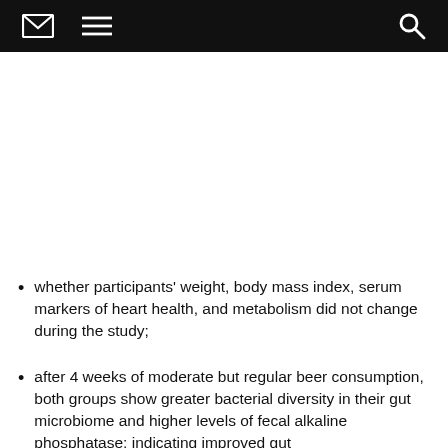[navigation bar with envelope, menu, and search icons]
whether participants' weight, body mass index, serum markers of heart health, and metabolism did not change during the study;
after 4 weeks of moderate but regular beer consumption, both groups show greater bacterial diversity in their gut microbiome and higher levels of fecal alkaline phosphatase; indicating improved gut